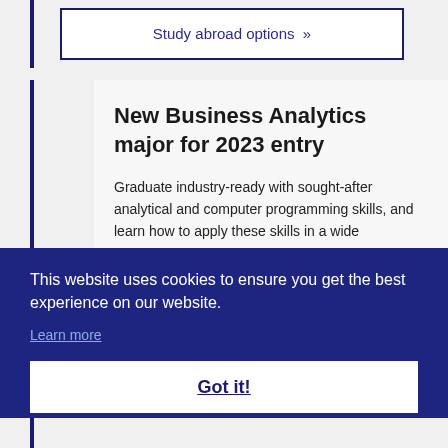Study abroad options »
New Business Analytics major for 2023 entry
Graduate industry-ready with sought-after analytical and computer programming skills, and learn how to apply these skills in a wide
This website uses cookies to ensure you get the best experience on our website.
Learn more
Got it!